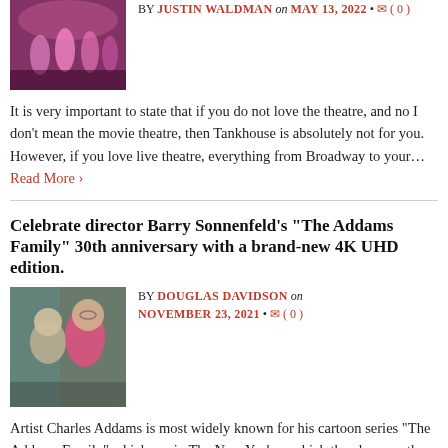[Figure (photo): Theater performance with dancers on stage under pink/purple lighting]
BY JUSTIN WALDMAN on MAY 13, 2022 • ( 0 )
It is very important to state that if you do not love the theatre, and no I don't mean the movie theatre, then Tankhouse is absolutely not for you. However, if you love live theatre, everything from Broadway to your… Read More ›
Celebrate director Barry Sonnenfeld's "The Addams Family" 30th anniversary with a brand-new 4K UHD edition.
[Figure (photo): Two men posing together, one in pink shirt]
BY DOUGLAS DAVIDSON on NOVEMBER 23, 2021 • ( 0 )
Artist Charles Addams is most widely known for his cartoon series "The Addams Family" which ran in The New Yorker, which then became the even more popular ABC television program which ran for two seasons between 1964 and 1966. While… Read More ›